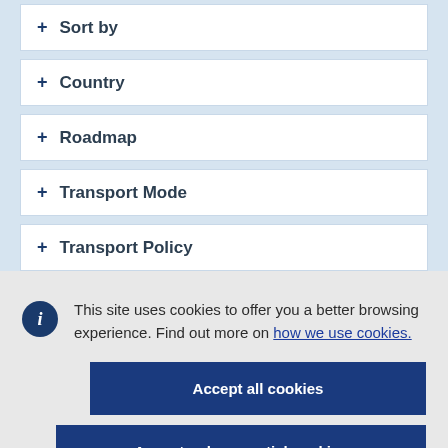+ Sort by
+ Country
+ Roadmap
+ Transport Mode
+ Transport Policy
This site uses cookies to offer you a better browsing experience. Find out more on how we use cookies.
Accept all cookies
Accept only essential cookies